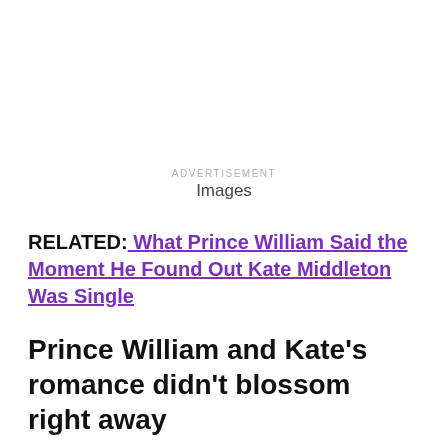ADVERTISEMENT
Images
RELATED: What Prince William Said the Moment He Found Out Kate Middleton Was Single
Prince William and Kate's romance didn't blossom right away
Prince William and his future bride were introduced in 2001, the first year they were